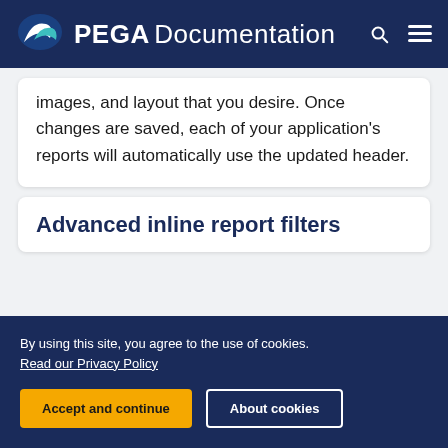PEGA Documentation
images, and layout that you desire. Once changes are saved, each of your application's reports will automatically use the updated header.
Advanced inline report filters
READY TO CRUSH COMPLEXITY?
By using this site, you agree to the use of cookies. Read our Privacy Policy
Accept and continue
About cookies